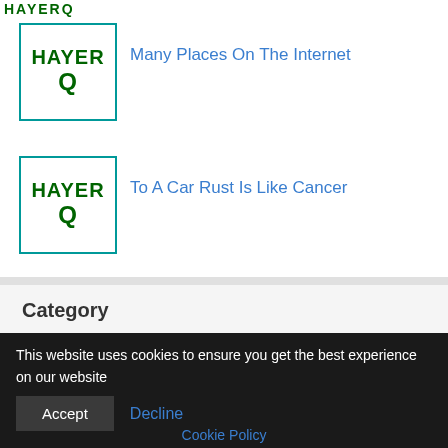[Figure (logo): HAYERQ logo in dark green bold text, partially cropped at top]
[Figure (logo): HAYERQ logo in dark green bold text with teal outline]
Many Places On The Internet
[Figure (logo): HAYERQ logo in dark green bold text with teal outline]
To A Car Rust Is Like Cancer
Category
This website uses cookies to ensure you get the best experience on our website
Accept
Decline
Cookie Policy